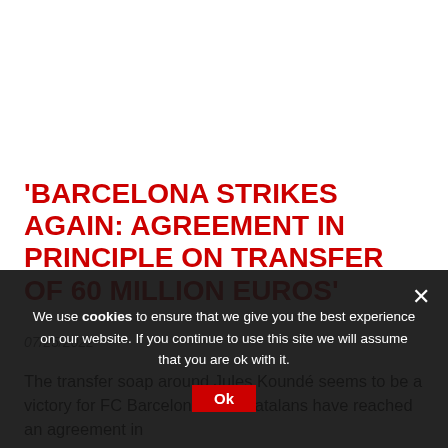'BARCELONA STRIKES AGAIN: AGREEMENT IN PRINCIPLE ON TRANSFER OF 60 MILLION EUROS'
07/25/2022
The transfer soap around Jules Koundé seems to be a victory for FC Barcelona. The Catalans have reached an agreement in principle with Seville, reports Diario...
We use cookies to ensure that we give you the best experience on our website. If you continue to use this site we will assume that you are ok with it.